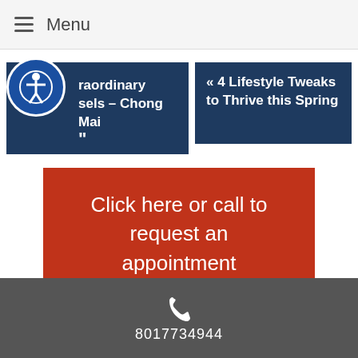Menu
raordinary sels – Chong Mai
« 4 Lifestyle Tweaks to Thrive this Spring
Click here or call to request an appointment
Great Salt Lake Acupuncture
8017734944